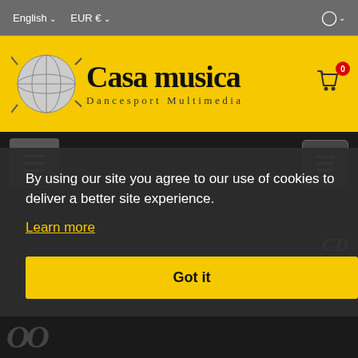English ∨  EUR € ∨
[Figure (logo): Casa musica Dancesport Multimedia logo on yellow background with globe graphic and shopping cart icon showing 0 items]
[Figure (screenshot): Navigation bar with two hamburger menu buttons on dark background]
By using our site you agree to our use of cookies to deliver a better site experience.
Learn more
Got it